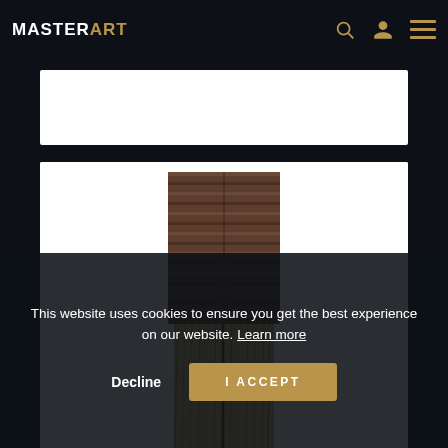MASTERART
[Figure (photo): White rectangular banner image area, partially visible at top]
[Figure (photo): Close-up photograph of a large flat paint brush with dark brown/purple fabric ferrule wrap and light brown bristles fanning out, shown against a white background. An art supply/tool product photo from MasterArt website.]
This website uses cookies to ensure you get the best experience on our website. Learn more
Decline
I ACCEPT